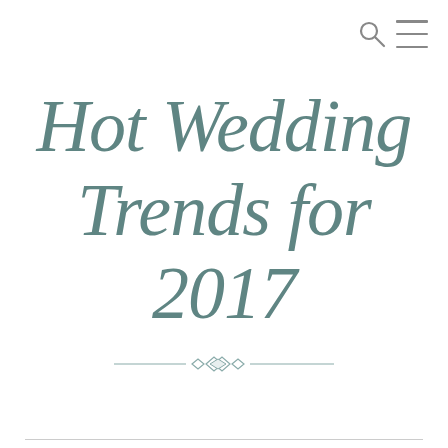Hot Wedding Trends for 2017
[Figure (illustration): Decorative ornamental divider with interlocking diamond/knot shapes and horizontal lines on either side]